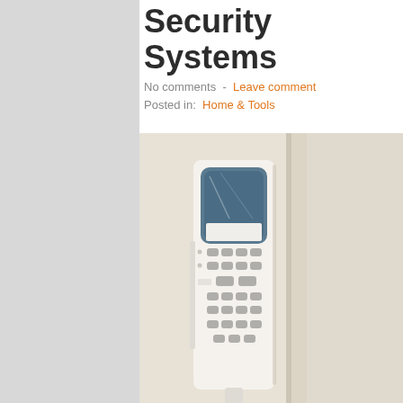Security Systems
No comments  -  Leave comment
Posted in:  Home & Tools
[Figure (photo): A white home security alarm keypad panel mounted on a wall next to a door frame. The keypad has a blue-tinted display screen at the top and multiple rows of grey buttons below.]